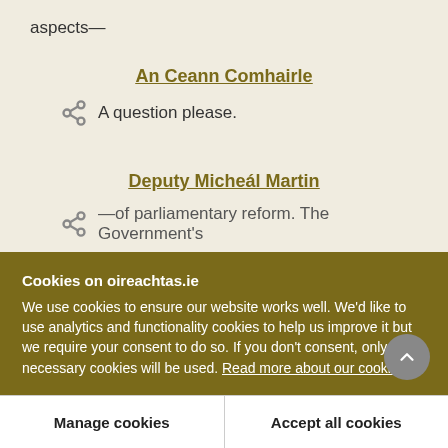aspects—
An Ceann Comhairle
A question please.
Deputy Micheál Martin
—of parliamentary reform. The Government's
Cookies on oireachtas.ie
We use cookies to ensure our website works well. We'd like to use analytics and functionality cookies to help us improve it but we require your consent to do so. If you don't consent, only necessary cookies will be used. Read more about our cookies
Manage cookies
Accept all cookies